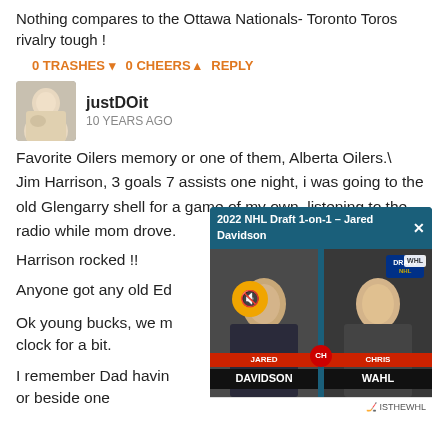Nothing compares to the Ottawa Nationals- Toronto Toros rivalry tough !
0 TRASHES  0 CHEERS  REPLY
justDOit
10 YEARS AGO
Favorite Oilers memory or one of them, Alberta Oilers.\ Jim Harrison, 3 goals 7 assists one night, i was going to the old Glengarry shell for a game of my own, listening to the radio while mom drove.
Harrison rocked !!

Anyone got any old Ed

Ok young bucks, we m clock for a bit.

I remember Dad havin or beside one
[Figure (screenshot): Video overlay showing '2022 NHL Draft 1-on-1 – Jared Davidson' with two interview participants labeled DAVIDSON and WAHL, NHL Draft logo, WHL badge, and mute button]